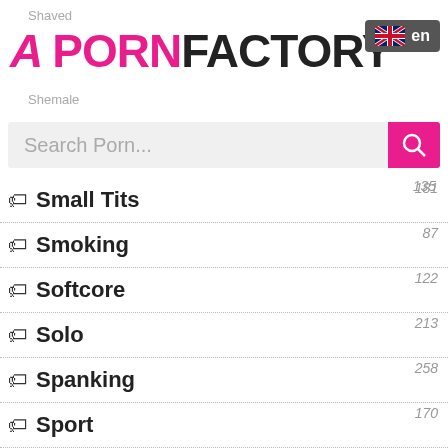A PORNFACTORY
Shaved
Shemale
Search Porn...
Small Tits 135
Smoking 181
Softcore 87
Solo 122
Spanking 213
Sport 258
Squirting 170
Stockings 228
Strapon 364
Striptease 250